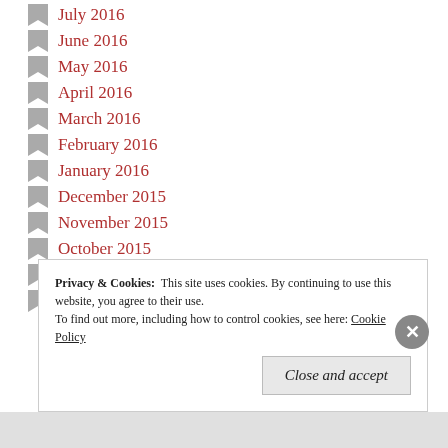July 2016
June 2016
May 2016
April 2016
March 2016
February 2016
January 2016
December 2015
November 2015
October 2015
September 2015
August 2015
Privacy & Cookies:  This site uses cookies. By continuing to use this website, you agree to their use.
To find out more, including how to control cookies, see here: Cookie Policy
Close and accept